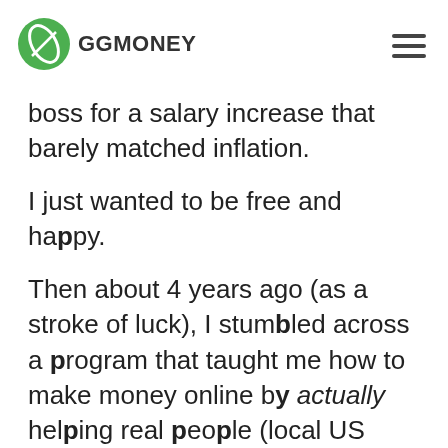GGMONEY
boss for a salary increase that barely matched inflation.
I just wanted to be free and happy.
Then about 4 years ago (as a stroke of luck), I stumbled across a program that taught me how to make money online by actually helping real people (local US businesses).